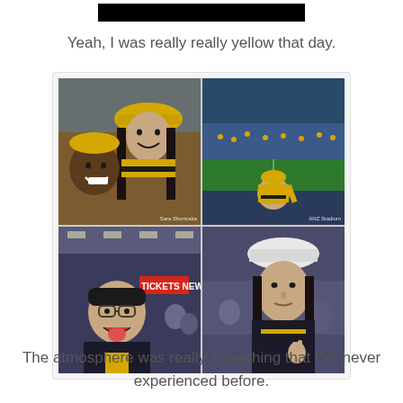[redacted header bar]
Yeah, I was really really yellow that day.
[Figure (photo): A 2x2 photo collage showing people at a sports event (ANZ Stadium). Top-left: selfie of a smiling man and a woman wearing yellow hats and black-and-yellow scarves. Top-right: woman in yellow gear waving at ANZ Stadium with crowd and green field visible. Bottom-left: man with glasses sticking out his tongue indoors near a 'TICKETS NEW' sign. Bottom-right: woman in white bucket hat and black-and-yellow scarf making a hand gesture.]
The atmosphere was really something that I've never experienced before.